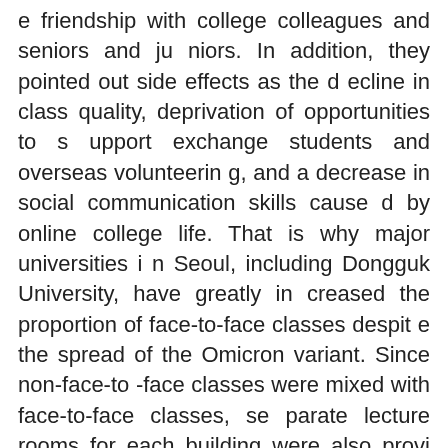e friendship with college colleagues and seniors and juniors. In addition, they pointed out side effects as the decline in class quality, deprivation of opportunities to support exchange students and overseas volunteering, and a decrease in social communication skills caused by online college life. That is why major universities in Seoul, including Dongguk University, have greatly increased the proportion of face-to-face classes despite the spread of the Omicron variant. Since non-face-to-face classes were mixed with face-to-face classes, separate lecture rooms for each building were also provided for students' convenience. Classes are available at a fixed time at the Business Hall, Myeongjin Hall, Law Hall, New Engineering Hall, Hakrimgwan, Hyehwa Hall, and so on.
With face-to-face classes, universities are gradually r